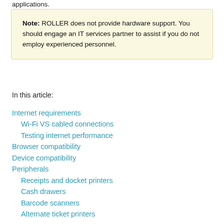applications.
Note: ROLLER does not provide hardware support. You should engage an IT services partner to assist if you do not employ experienced personnel.
In this article:
Internet requirements
Wi-Fi VS cabled connections
Testing internet performance
Browser compatibility
Device compatibility
Peripherals
Receipts and docket printers
Cash drawers
Barcode scanners
Alternate ticket printers